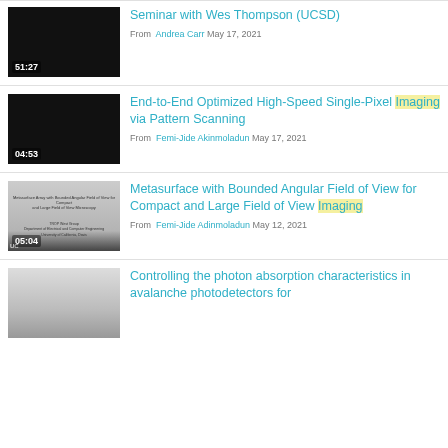[Figure (screenshot): Video thumbnail black, duration 51:27, partial title Seminar with Wes Thompson (UCSD)]
Seminar with Wes Thompson (UCSD)
From Andrea Carr May 17, 2021
[Figure (screenshot): Video thumbnail black, duration 04:53, End-to-End Optimized High-Speed Single-Pixel Imaging via Pattern Scanning]
End-to-End Optimized High-Speed Single-Pixel Imaging via Pattern Scanning
From Femi-Jide Akinmoladun May 17, 2021
[Figure (screenshot): Video thumbnail showing slide text about Metasurface Array, duration 05:04]
Metasurface with Bounded Angular Field of View for Compact and Large Field of View Imaging
From Femi-Jide Adinmoladun May 12, 2021
[Figure (screenshot): Video thumbnail light grey gradient, partially visible, Controlling the photon absorption characteristics in avalanche photodetectors for...]
Controlling the photon absorption characteristics in avalanche photodetectors for